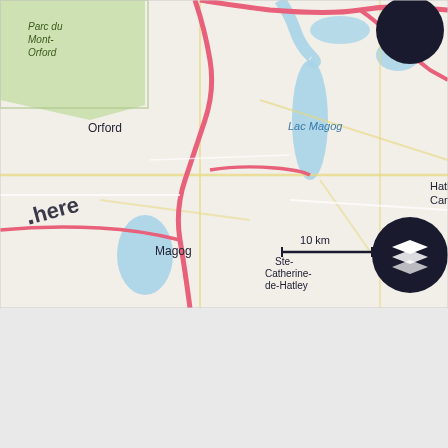[Figure (map): HERE map showing the Magog/Orford region of Quebec, Canada. Shows Parc du Mont-Orford, Orford, Lac Magog, Magog, Hatley Canton, Ste-Catherine-de-Hatley, Waterville, Compton, and partial label 'Martin'. Pink/red highlighted roads (highways), blue water bodies, yellow roads, and a scale bar showing 10 km. Two dark circular UI buttons visible: one solid black circle top-right, one with a layers icon bottom-right. HERE maps logo/watermark bottom-left.]